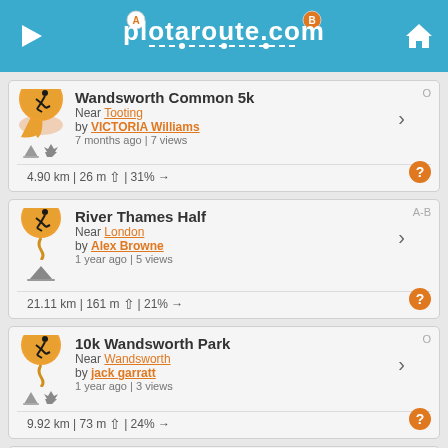plotaroute.com
Wandsworth Common 5k | Near Tooting | by VICTORIA Williams | 7 months ago | 7 views | 4.90 km | 26 m | 31%
River Thames Half | Near London | by Alex Browne | 1 year ago | 5 views | 21.11 km | 161 m | 21%
10k Wandsworth Park | Near Wandsworth | by jack garratt | 1 year ago | 3 views | 9.92 km | 73 m | 24%
5k Charity Run | Near SW12 | by Dom Borber